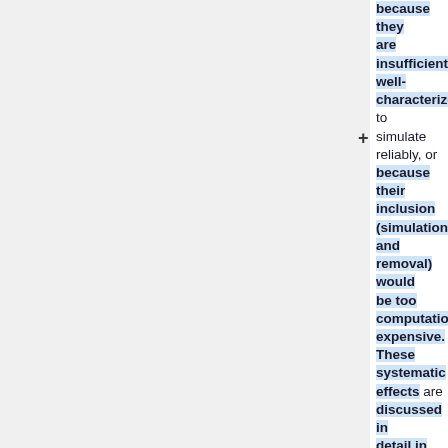because they are insufficiently well-characterized to simulate reliably, or because their inclusion (simulation and removal) would be too computationally expensive. These systematic effects are discussed in detail in {{PlanckPapers|planck2014-a03}} and {{PlanckPapers|planck2014-...